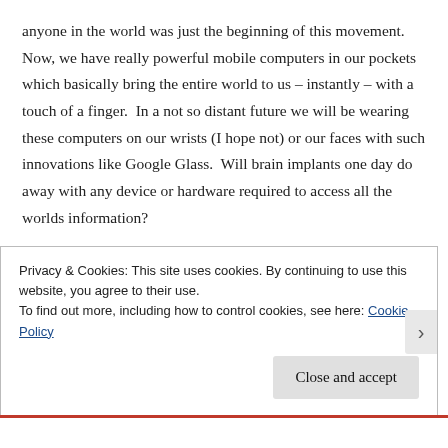anyone in the world was just the beginning of this movement. Now, we have really powerful mobile computers in our pockets which basically bring the entire world to us – instantly – with a touch of a finger. In a not so distant future we will be wearing these computers on our wrists (I hope not) or our faces with such innovations like Google Glass. Will brain implants one day do away with any device or hardware required to access all the worlds information?

Fashion faux pas aside, I think these technical
Privacy & Cookies: This site uses cookies. By continuing to use this website, you agree to their use.
To find out more, including how to control cookies, see here: Cookie Policy
Close and accept